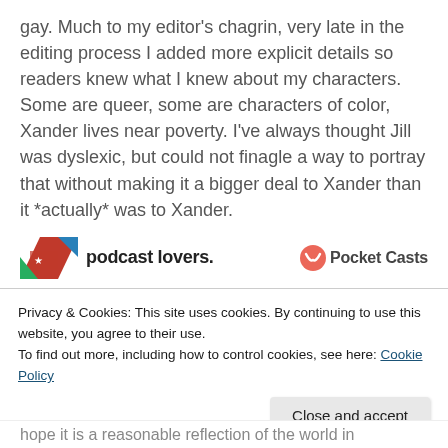gay. Much to my editor's chagrin, very late in the editing process I added more explicit details so readers knew what I knew about my characters. Some are queer, some are characters of color, Xander lives near poverty. I've always thought Jill was dyslexic, but could not finagle a way to portray that without making it a bigger deal to Xander than it *actually* was to Xander.
[Figure (other): Advertisement banner showing 'podcast lovers.' logo with red/blue icon on the left and 'Pocket Casts' logo with red swirl icon on the right. 'REPORT THIS AD' link at bottom right.]
Privacy & Cookies: This site uses cookies. By continuing to use this website, you agree to their use.
To find out more, including how to control cookies, see here: Cookie Policy
hope it is a reasonable reflection of the world in